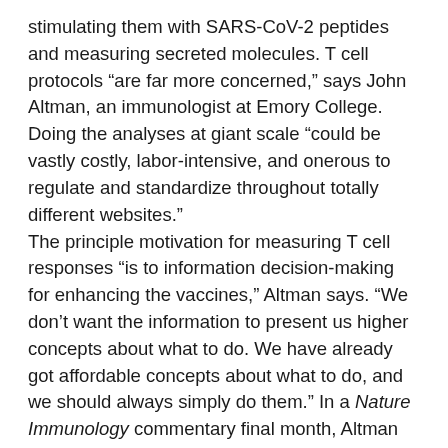stimulating them with SARS-CoV-2 peptides and measuring secreted molecules. T cell protocols “are far more concerned,” says John Altman, an immunologist at Emory College. Doing the analyses at giant scale “could be vastly costly, labor-intensive, and onerous to regulate and standardize throughout totally different websites.”
The principle motivation for measuring T cell responses “is to information decision-making for enhancing the vaccines,” Altman says. “We don’t want the information to present us higher concepts about what to do. We have already got affordable concepts about what to do, and we should always simply do them.” In a Nature Immunology commentary final month, Altman proposed bolstering immune reminiscence by broadening the variety of potential SARS-CoV-2 targets the immune system is poised to combat. This may very well be performed by together with further nonspike antigens in future vaccine formulations to stimulate an immune